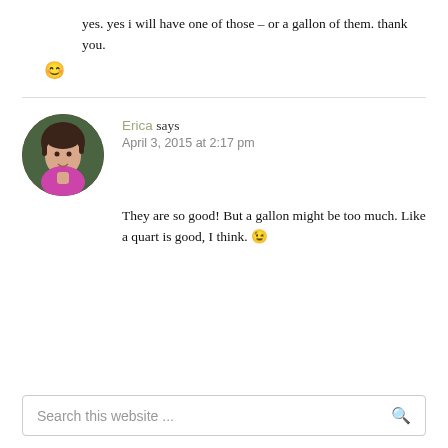yes. yes i will have one of those – or a gallon of them. thank you. 😊
Erica says
April 3, 2015 at 2:17 pm
They are so good! But a gallon might be too much. Like a quart is good, I think. 😉